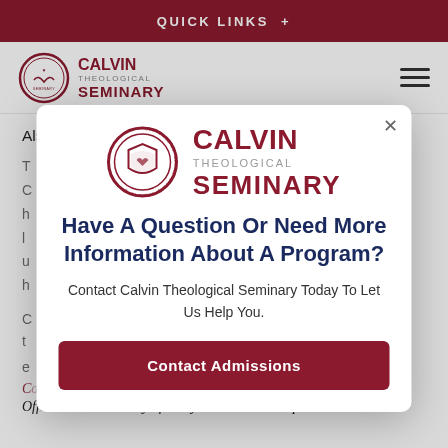QUICK LINKS +
[Figure (logo): Calvin Theological Seminary logo in navigation bar]
Also we will visit the Templo Mayor (main Aztec temple).
[Figure (logo): Calvin Theological Seminary modal logo with circular seal]
Have A Question Or Need More Information About A Program?
Contact Calvin Theological Seminary Today To Let Us Help You.
Contact Admissions
Offered in the January of odd years. The next trip will be in